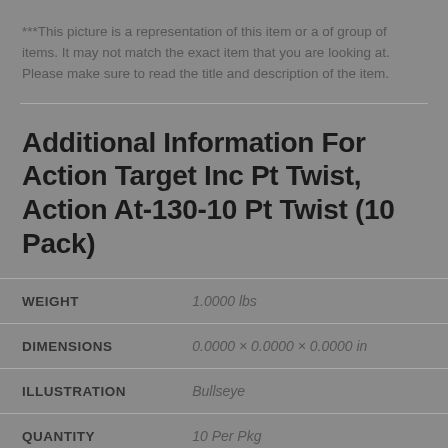***This picture is a representation of this item or a of group of items. It may not match the exact item that you are looking at. Please make sure to read the title and description of the item.
Additional Information For Action Target Inc Pt Twist, Action At-130-10 Pt Twist (10 Pack)
|  |  |
| --- | --- |
| WEIGHT | 1.0000 lbs |
| DIMENSIONS | 0.0000 × 0.0000 × 0.0000 in |
| ILLUSTRATION | Bullseye |
| QUANTITY | 10 Per Pkg |